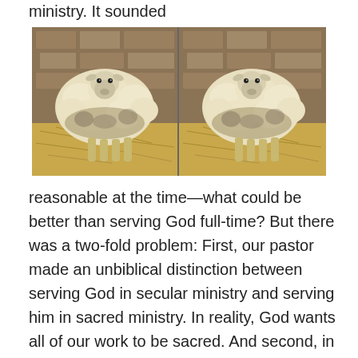ministry. It sounded
[Figure (photo): Two identical photographs of a white woolly sheep standing in a barn with straw on the ground and a stone/brick wall in the background, placed side by side.]
reasonable at the time—what could be better than serving God full-time? But there was a two-fold problem: First, our pastor made an unbiblical distinction between serving God in secular ministry and serving him in sacred ministry. In reality, God wants all of our work to be sacred. And second, in order to do this, each young man was supposed to follow the exact same route to pastoral ministry as our pastor had: a history major and Greek minor in undergrad, a seminary education focusing on the